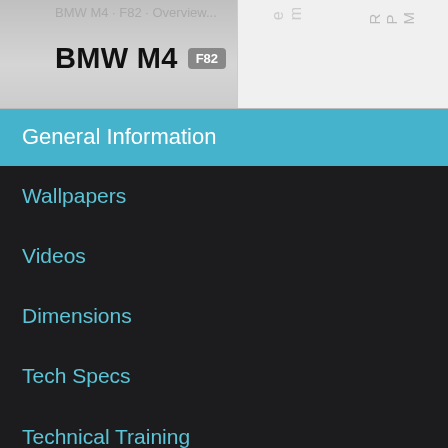BMW M4 F82
General Information
Wallpapers
Videos
Dimensions
Tech Specs
Technical Training Docs
Technical Diagrams
Technical Deep Dives & Interviews
CFRPdriveshaft, roof, t
RPM 0-60MPH: 3.9 seconds (DCT)/ 4.1 seconds (M